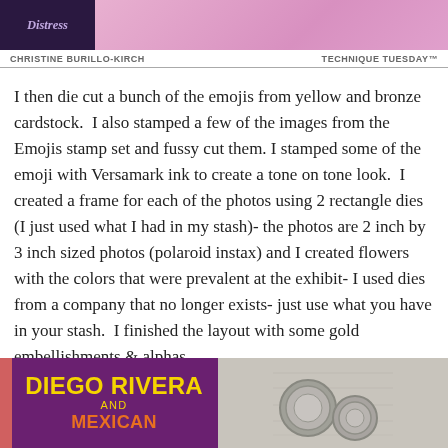[Figure (photo): Top banner image with purple Distress ink branding label on left and pink/mauve background on right]
CHRISTINE BURILLO-KIRCH    TECHNIQUE TUESDAY™
I then die cut a bunch of the emojis from yellow and bronze cardstock. I also stamped a few of the images from the Emojis stamp set and fussy cut them. I stamped some of the emoji with Versamark ink to create a tone on tone look. I created a frame for each of the photos using 2 rectangle dies (I just used what I had in my stash)- the photos are 2 inch by 3 inch sized photos (polaroid instax) and I created flowers with the colors that were prevalent at the exhibit- I used dies from a company that no longer exists- just use what you have in your stash. I finished the layout with some gold embellishments & alphas.
[Figure (photo): Bottom left: Diego Rivera and Mexican exhibit sign on purple background with yellow and orange text. Bottom right: Grey/white wooden background with circular metal objects.]